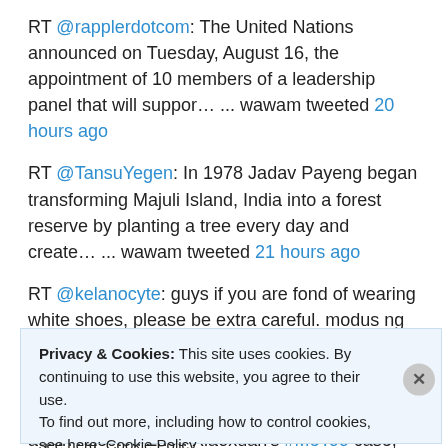RT @rapplerdotcom: The United Nations announced on Tuesday, August 16, the appointment of 10 members of a leadership panel that will suppor… ... wawam tweeted 20 hours ago
RT @TansuYegen: In 1978 Jadav Payeng began transforming Majuli Island, India into a forest reserve by planting a tree every day and create… ... wawam tweeted 21 hours ago
RT @kelanocyte: guys if you are fond of wearing white shoes, please be extra careful. modus ng mga magnanakaw ngayon to step on your shoes… ... wawam tweeted 21 hours ago
RT @amnesty: On 10 August, the court once again rejected Zhou Xiaoxuan's #MeToo case, but she continues to be a symbol of hope for
Privacy & Cookies: This site uses cookies. By continuing to use this website, you agree to their use.
To find out more, including how to control cookies, see here: Cookie Policy
Close and accept